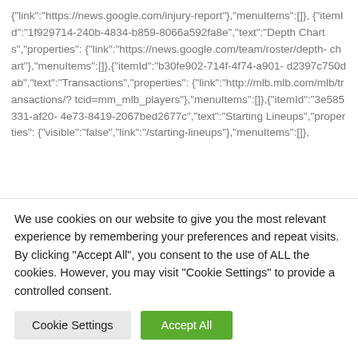{"link":"https://news.google.com/injury-report"},"menuItems":[]},{"itemId":"1f929714-240b-4834-b859-8066a592fa8e","text":"Depth Charts","properties":{"link":"https://news.google.com/team/roster/depth-chart"},"menuItems":[]},{"itemId":"b30fe902-714f-4f74-a901-d2397c750dab","text":"Transactions","properties":{"link":"http://mlb.mlb.com/mlb/transactions/?tcid=mm_mlb_players"},"menuItems":[]},{"itemId":"3e585331-af20-4e73-8419-2067bed2677c","text":"Starting Lineups","properties":{"visible":"false","link":"/starting-lineups"},"menuItems":[]},
We use cookies on our website to give you the most relevant experience by remembering your preferences and repeat visits. By clicking "Accept All", you consent to the use of ALL the cookies. However, you may visit "Cookie Settings" to provide a controlled consent.
Cookie Settings | Accept All